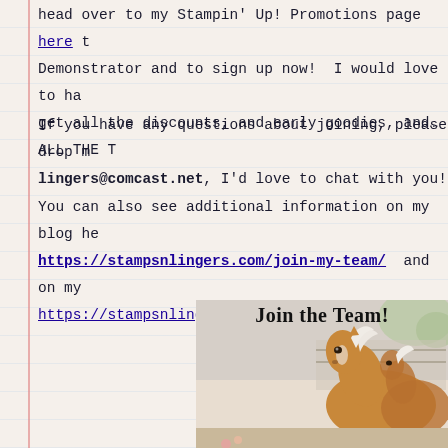head over to my Stampin' Up! Promotions page here to become a Demonstrator and to sign up now! I would love to have you! You'll get all the discounts, and early goodies, and…ALL THE T
If you have any questions about joining, please drop me an email at lingers@comcast.net, I'd love to chat with you!
You can also see additional information on my blog here: https://stampsnlingers.com/join-my-team/ and on my https://stampsnlingers.stampinup.net/join_now
[Figure (illustration): Join the Team! graphic with a watercolor-style horse (palomino/light brown with white mane) on a light background with floral elements]